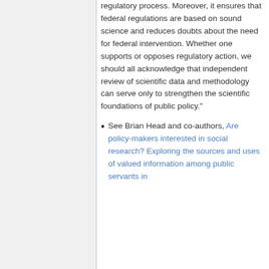regulatory process. Moreover, it ensures that federal regulations are based on sound science and reduces doubts about the need for federal intervention. Whether one supports or opposes regulatory action, we should all acknowledge that independent review of scientific data and methodology can serve only to strengthen the scientific foundations of public policy."
See Brian Head and co-authors, Are policy-makers interested in social research? Exploring the sources and uses of valued information among public servants in